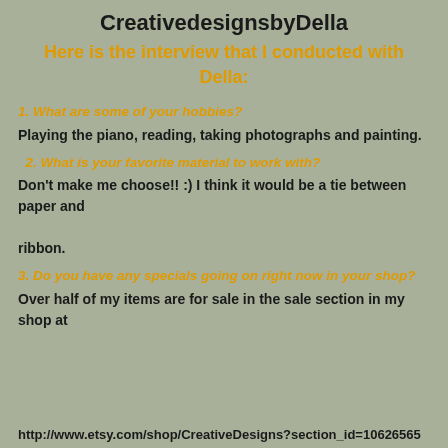CreativedesignsbyDella
Here is the interview that I conducted with Della:
1. What are some of your hobbies?
Playing the piano, reading, taking photographs and painting.
2. What is your favorite material to work with?
Don't make me choose!! :) I think it would be a tie between paper and ribbon.
3. Do you have any specials going on right now in your shop?
Over half of my items are for sale in the sale section in my shop at
http://www.etsy.com/shop/CreativeDesigns?section_id=10626565